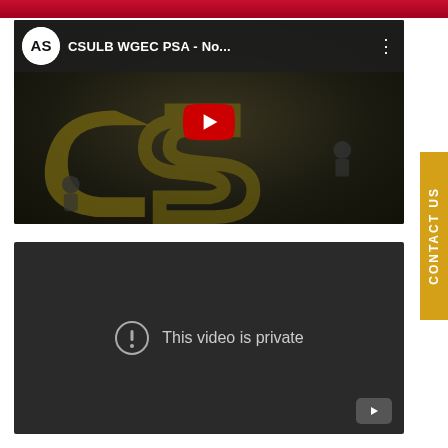[Figure (screenshot): Red banner at top of webpage]
[Figure (screenshot): YouTube embedded video thumbnail showing CSULB WGEC PSA video with play button, dark background with CSULB logo on ground and people sitting around it]
[Figure (screenshot): YouTube embedded video showing 'This video is private' error message with exclamation icon on dark grey background]
CONTACT US